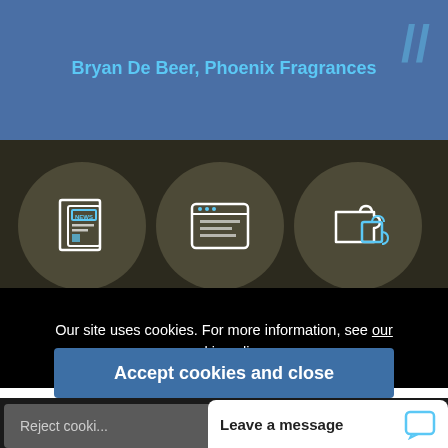Bryan De Beer, Phoenix Fragrances
[Figure (illustration): Three circular icons on dark background: a newspaper/news icon, a browser/webpage icon, and a puzzle piece icon]
Sign up for the Newsletter
Download our Brochure
FAQ
Our site uses cookies. For more information, see our cookie policy.
Accept cookies and close
Reject cooki...
Leave a message